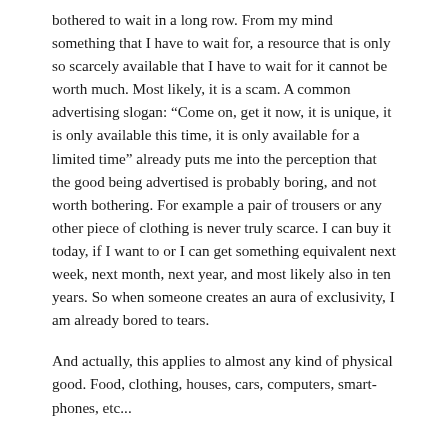bothered to wait in a long row. From my mind something that I have to wait for, a resource that is only so scarcely available that I have to wait for it cannot be worth much. Most likely, it is a scam. A common advertising slogan: “Come on, get it now, it is unique, it is only available this time, it is only available for a limited time” already puts me into the perception that the good being advertised is probably boring, and not worth bothering. For example a pair of trousers or any other piece of clothing is never truly scarce. I can buy it today, if I want to or I can get something equivalent next week, next month, next year, and most likely also in ten years. So when someone creates an aura of exclusivity, I am already bored to tears.
And actually, this applies to almost any kind of physical good. Food, clothing, houses, cars, computers, smart-phones, etc...